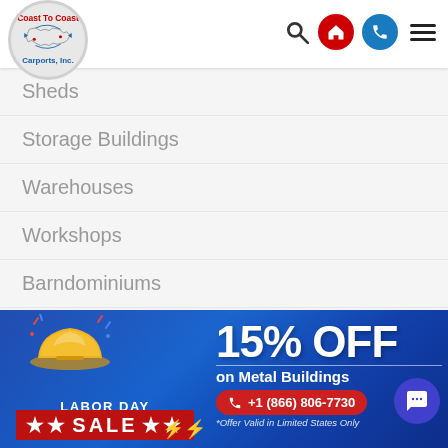[Figure (logo): Coast To Coast Carports, Inc. logo in a circle with US map outline]
Coast To Coast Carports, Inc. — navigation header with search, home, phone, and menu icons
Sheds
Storage Buildings
Warehouses
Workshops
Barndominiums
Metal Building Prices
Barn Buildings
Regular Style Barns
[Figure (infographic): Labor Day Sale banner — 15% OFF on Metal Buildings, +1 (866) 806-7730, *Offer Valid in Limited States Only]